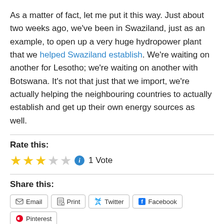As a matter of fact, let me put it this way. Just about two weeks ago, we've been in Swaziland, just as an example, to open up a very huge hydropower plant that we helped Swaziland establish. We're waiting on another for Lesotho; we're waiting on another with Botswana. It's not that just that we import, we're actually helping the neighbouring countries to actually establish and get up their own energy sources as well.
Rate this:
[Figure (other): Star rating widget showing 2.5 out of 5 stars (2 filled, 1 half, 2 empty) with an info icon and '1 Vote' label]
Share this:
Email
Print
Twitter
Facebook
Pinterest